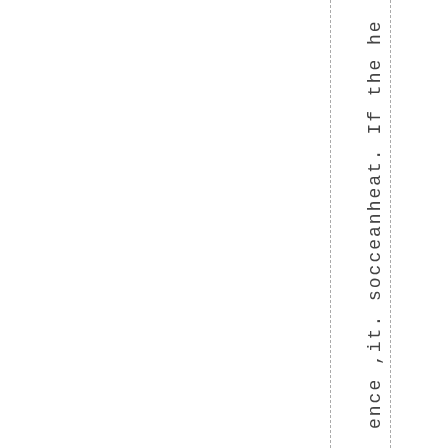ence ,it. socceanheat. If the he